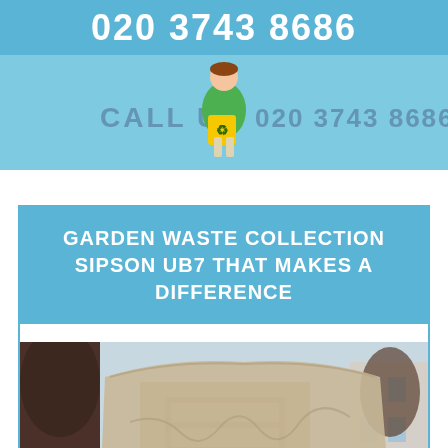020 3743 8686
[Figure (photo): Banner image showing a person in green top holding a yellow recycling bag, with 'CALL US' text and '020 3743 8686' repeated on a light blue background]
GARDEN WASTE COLLECTION SIPSON UB7 THAT MAKES A DIFFERENCE
[Figure (photo): Photo of wooden furniture covered with a beige/tan protective cover, outdoors with trees and a building in the background]